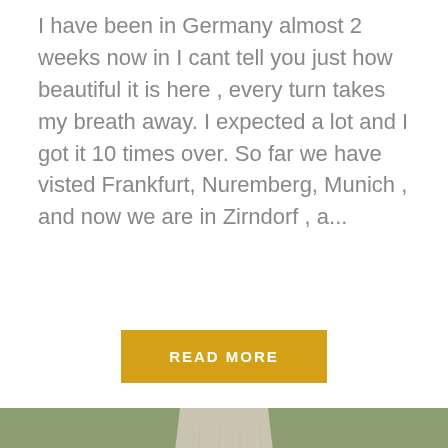I have been in Germany almost 2 weeks now in I cant tell you just how beautiful it is here , every turn takes my breath away. I expected a lot and I got it 10 times over. So far we have visted Frankfurt, Nuremberg, Munich , and now we are in Zirndorf , a...
[Figure (other): Button element: yellow/gold rectangular button with white uppercase text 'READ MORE']
[Figure (photo): A person wearing a white knit sweater and light blue jeans walking on a narrow paved path surrounded by green grass fields. The photo is cropped to show from neck to mid-thigh.]